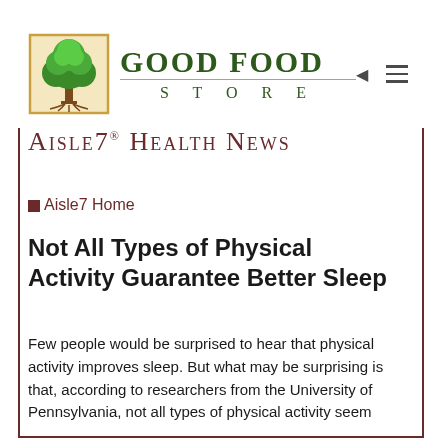[Figure (logo): Good Food Store logo with tree illustration and text 'GOOD FOOD STORE']
AISLE7® HEALTH NEWS
⊞ Aisle7 Home
Not All Types of Physical Activity Guarantee Better Sleep
Few people would be surprised to hear that physical activity improves sleep. But what may be surprising is that, according to researchers from the University of Pennsylvania, not all types of physical activity seem